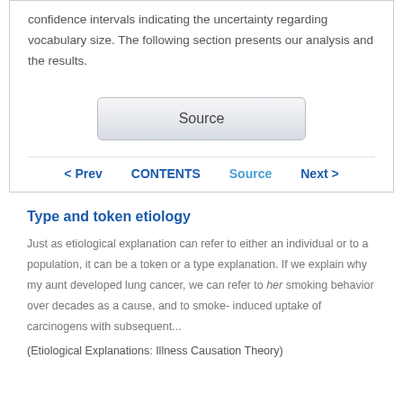confidence intervals indicating the uncertainty regarding vocabulary size. The following section presents our analysis and the results.
Source
< Prev   CONTENTS   Source   Next >
Type and token etiology
Just as etiological explanation can refer to either an individual or to a population, it can be a token or a type explanation. If we explain why my aunt developed lung cancer, we can refer to her smoking behavior over decades as a cause, and to smoke- induced uptake of carcinogens with subsequent...
(Etiological Explanations: Illness Causation Theory)